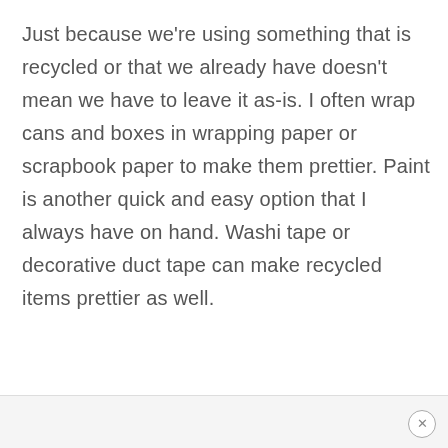Just because we're using something that is recycled or that we already have doesn't mean we have to leave it as-is. I often wrap cans and boxes in wrapping paper or scrapbook paper to make them prettier. Paint is another quick and easy option that I always have on hand. Washi tape or decorative duct tape can make recycled items prettier as well.
×